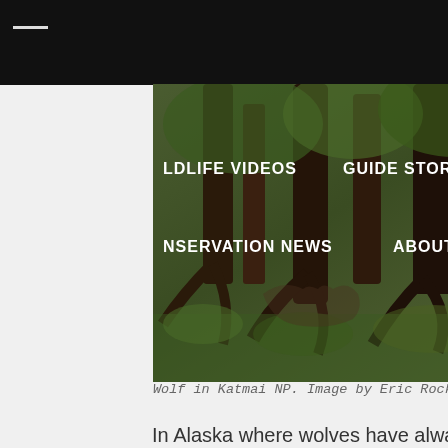[Figure (photo): Photo of wolf or trees/roots in Katmai NP with navigation menu overlay showing WILDLIFE VIDEOS, GUIDE STORIES, CONSERVATION NEWS, ABOUT]
Wolf in Katmai NP. Image by Eric Rock
In Alaska where wolves have always been prolific, wolves also face predator control programs. Luckily vast national parks such as Katmai and Denali harbor numerous wolves which are protected from hunting and trapping, as long as they don't wander out of the park. Ecotourism is the largest force which drives opposition of predator control in Alaska, because like Yellowstone it is a spectacular place to see wild wolves, and many people come from all over the world to try.